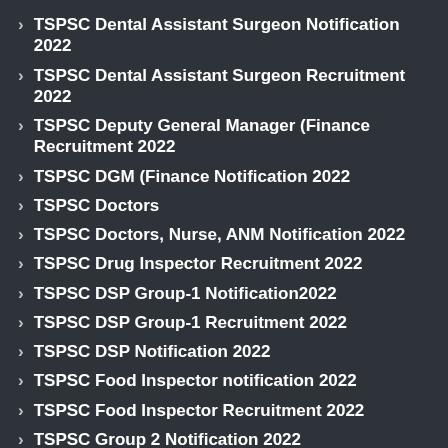TSPSC Dental Assistant Surgeon Notification 2022
TSPSC Dental Assistant Surgeon Recruitment 2022
TSPSC Deputy General Manager (Finance Recruitment 2022
TSPSC DGM (Finance Notification 2022
TSPSC Doctors
TSPSC Doctors, Nurse, ANM Notification 2022
TSPSC Drug Inspector Recruitment 2022
TSPSC DSP Group-1 Notification2022
TSPSC DSP Group-1 Recruitment 2022
TSPSC DSP Notification 2022
TSPSC Food Inspector notification 2022
TSPSC Food Inspector Recruitment 2022
TSPSC Group 2 Notification 2022